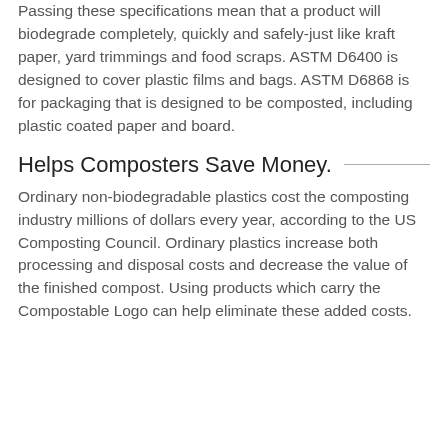Passing these specifications mean that a product will biodegrade completely, quickly and safely-just like kraft paper, yard trimmings and food scraps. ASTM D6400 is designed to cover plastic films and bags. ASTM D6868 is for packaging that is designed to be composted, including plastic coated paper and board.
Helps Composters Save Money.
Ordinary non-biodegradable plastics cost the composting industry millions of dollars every year, according to the US Composting Council. Ordinary plastics increase both processing and disposal costs and decrease the value of the finished compost. Using products which carry the Compostable Logo can help eliminate these added costs.